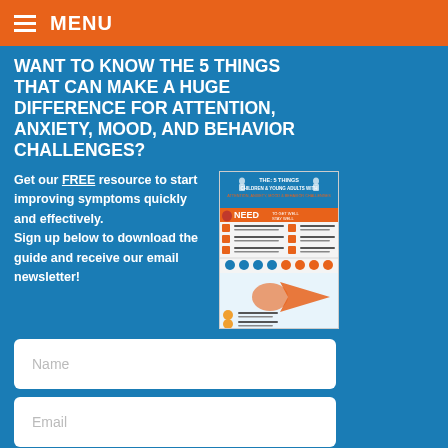MENU
WANT TO KNOW THE 5 THINGS THAT CAN MAKE A HUGE DIFFERENCE FOR ATTENTION, ANXIETY, MOOD, AND BEHAVIOR CHALLENGES?
Get our FREE resource to start improving symptoms quickly and effectively.
Sign up below to download the guide and receive our email newsletter!
[Figure (infographic): Cover of a guide titled 'THE 5 THINGS CHILDREN & YOUNG ADULTS WITH ATTENTION, ANXIETY, MOOD & BEHAVIOR CHALLENGES NEED' with orange and blue design elements, icons and text columns.]